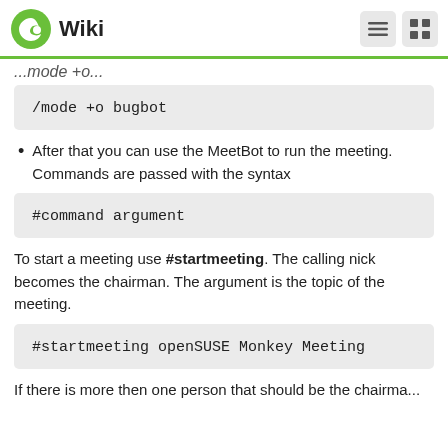Wiki
...mode +o...
/mode +o bugbot
After that you can use the MeetBot to run the meeting. Commands are passed with the syntax
#command argument
To start a meeting use #startmeeting. The calling nick becomes the chairman. The argument is the topic of the meeting.
#startmeeting openSUSE Monkey Meeting
If there is more then one person that should be the chairman...